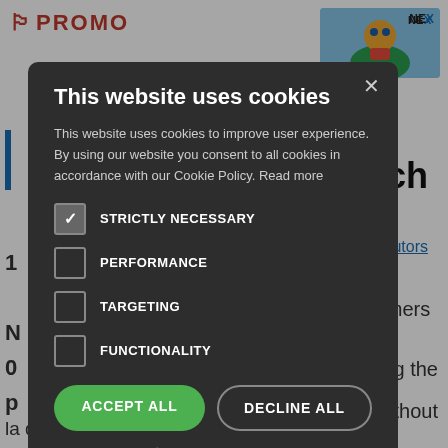[Figure (screenshot): Background webpage showing PROMO logo, advertisement banner with NEX text, partially visible page content with 'Tech', 'Distributors' link, and body text fragments]
This website uses cookies
This website uses cookies to improve user experience. By using our website you consent to all cookies in accordance with our Cookie Policy. Read more
STRICTLY NECESSARY (checked)
PERFORMANCE
TARGETING
FUNCTIONALITY
ACCEPT ALL
DECLINE ALL
SHOW DETAILS